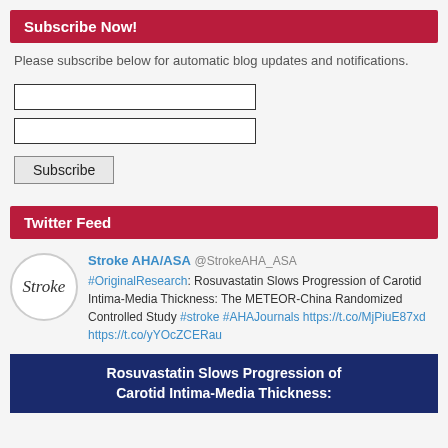Subscribe Now!
Please subscribe below for automatic blog updates and notifications.
[Figure (other): Email subscription form with two input fields and a Subscribe button]
Twitter Feed
Stroke AHA/ASA @StrokeAHA_ASA #OriginalResearch: Rosuvastatin Slows Progression of Carotid Intima-Media Thickness: The METEOR-China Randomized Controlled Study #stroke #AHAJournals https://t.co/MjPiuE87xd https://t.co/yYOcZCERau
Rosuvastatin Slows Progression of Carotid Intima-Media Thickness: